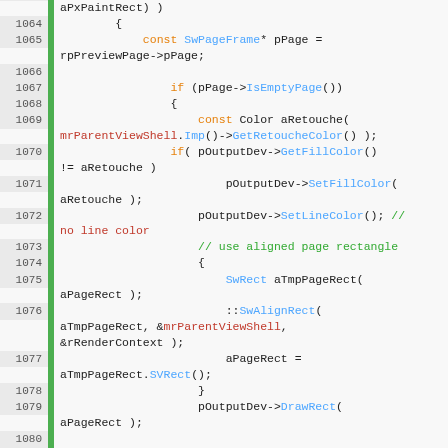[Figure (screenshot): Source code viewer showing C++ code lines 1064-1084, with line numbers on the left, a green gutter bar, and syntax-highlighted code. Keywords in orange/blue/green, comments in green, identifiers in black/blue/red.]